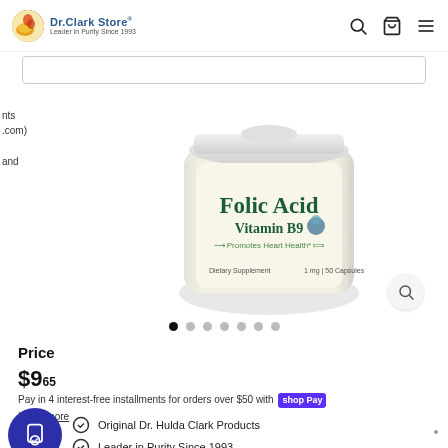Dr.Clark Store® — Leader in Purity Since 1993
[Figure (photo): Folic Acid Vitamin B9 supplement bottle by Dr. Clark Store. Label reads: Folic Acid, Vitamin B9, Promotes Heart Health*, Dietary Supplement, 1 mg | 50 Capsules.]
Price
$9.65
Pay in 4 interest-free installments for orders over $50 with Shop Pay
Learn more
Original Dr. Hulda Clark Products
Leader in Purity Since 1993